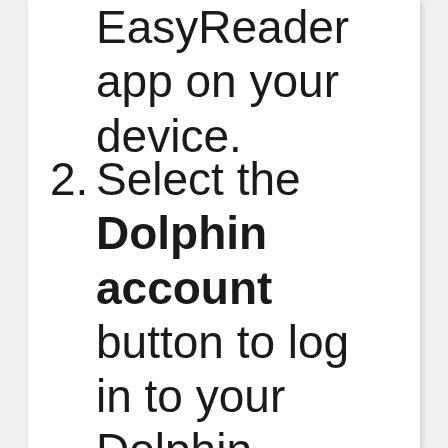EasyReader app on your device.
2. Select the Dolphin account button to log in to your Dolphin